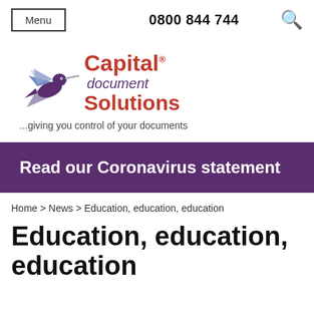Menu | 0800 844 744
[Figure (logo): Capital document Solutions logo with hummingbird bird illustration in purple and blue tones, red text for Capital and Solutions, italic purple text for document]
...giving you control of your documents
Read our Coronavirus statement
Home > News > Education, education, education
Education, education, education